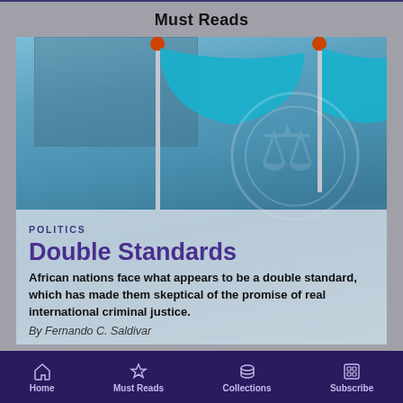Must Reads
[Figure (photo): Photo of UN building with blue flags (ICC flags) flying on flagpoles against a blue sky, with the ICC/UN emblem watermark visible]
POLITICS
Double Standards
African nations face what appears to be a double standard, which has made them skeptical of the promise of real international criminal justice.
By Fernando C. Saldivar
Home  Must Reads  Collections  Subscribe